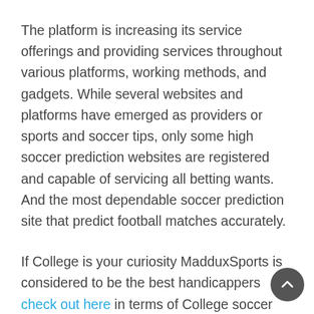The platform is increasing its service offerings and providing services throughout various platforms, working methods, and gadgets. While several websites and platforms have emerged as providers or sports and soccer tips, only some high soccer prediction websites are registered and capable of servicing all betting wants. And the most dependable soccer prediction site that predict football matches accurately.
If College is your curiosity MadduxSports is considered to be the best handicappers check out here in terms of College soccer predictions. We are the #1 ranked College soccer